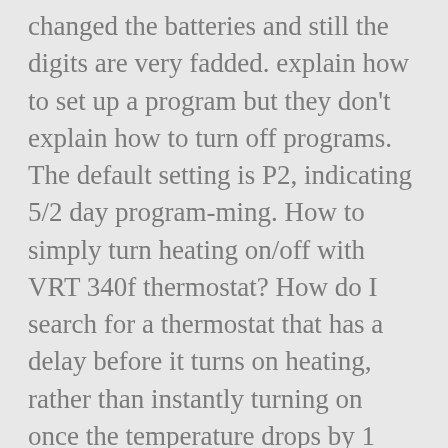changed the batteries and still the digits are very fadded. explain how to set up a program but they don't explain how to turn off programs. The default setting is P2, indicating 5/2 day program-ming. How to simply turn heating on/off with VRT 340f thermostat? How do I search for a thermostat that has a delay before it turns on heating, rather than instantly turning on once the temperature drops by 1 degree? We've also applied the latest connected home technology to provide the next level of home comfort control with our line of Sensi thermostats. If you want this or not dealing with small yet important parts of electronics has a huge meaning to everyone's life. Comments Required. It came